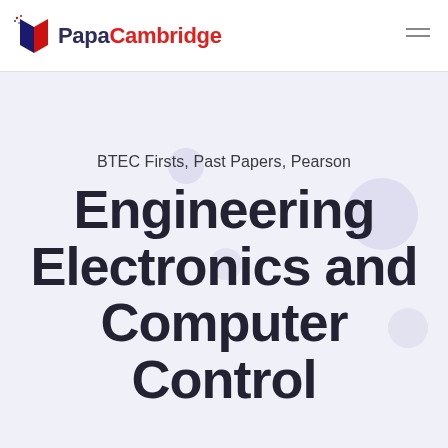[Figure (logo): PapaCambridge logo with book icon and text]
BTEC Firsts, Past Papers, Pearson
Engineering Electronics and Computer Control